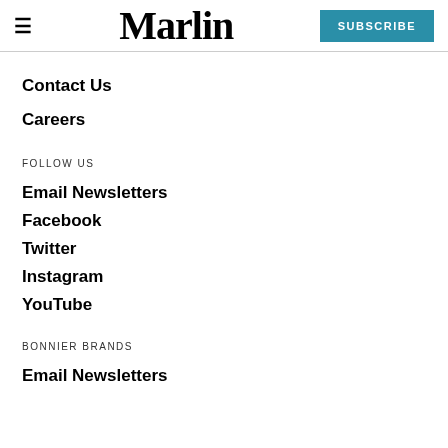≡ Marlin SUBSCRIBE
Contact Us
Careers
FOLLOW US
Email Newsletters
Facebook
Twitter
Instagram
YouTube
BONNIER BRANDS
Email Newsletters